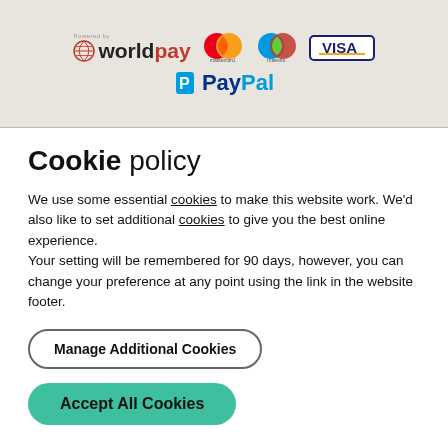[Figure (logo): Worldpay, Mastercard, Maestro, Visa, and PayPal payment logos in a grey banner header]
Cookie policy
We use some essential cookies to make this website work. We'd also like to set additional cookies to give you the best online experience.
Your setting will be remembered for 90 days, however, you can change your preference at any point using the link in the website footer.
Manage Additional Cookies
Accept All Cookies